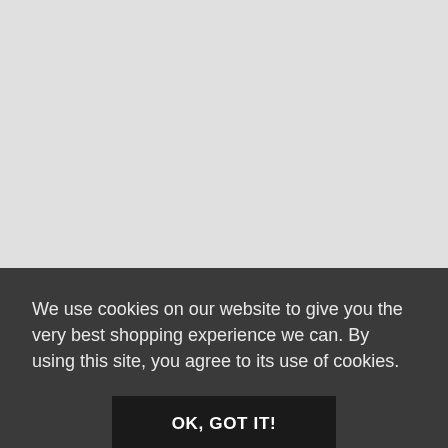[Figure (other): Light gray blank area occupying the upper portion of the page, representing a content/image placeholder.]
We use cookies on our website to give you the very best shopping experience we can. By using this site, you agree to its use of cookies.
OK, GOT IT!